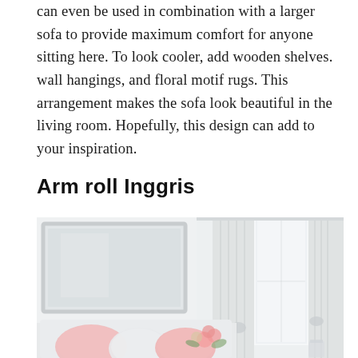can even be used in combination with a larger sofa to provide maximum comfort for anyone sitting here. To look cooler, add wooden shelves. wall hangings, and floral motif rugs. This arrangement makes the sofa look beautiful in the living room. Hopefully, this design can add to your inspiration.
Arm roll Inggris
[Figure (photo): Interior room photo showing a bright white room with a large framed mirror on the left wall, sheer white curtains on windows, and a sofa with pink and white cushions and pink flowers.]